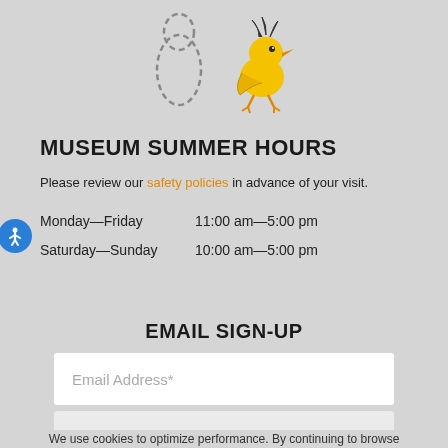[Figure (illustration): Snoopy character outline (dashed) next to Woodstock bird character in yellow, both from Peanuts]
MUSEUM SUMMER HOURS
Please review our safety policies in advance of your visit.
Monday—Friday   11:00 am—5:00 pm
Saturday—Sunday   10:00 am—5:00 pm
EMAIL SIGN-UP
Email Address*
SUBMIT
We use cookies to optimize performance. By continuing to browse